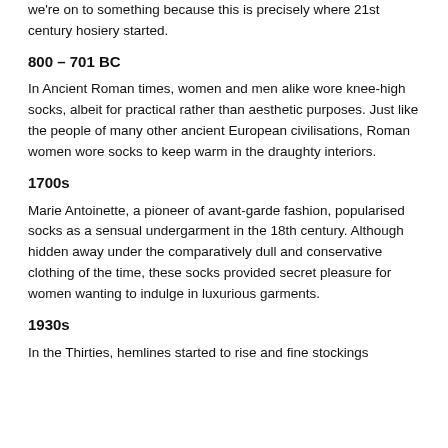we're on to something because this is precisely where 21st century hosiery started.
800 – 701 BC
In Ancient Roman times, women and men alike wore knee-high socks, albeit for practical rather than aesthetic purposes. Just like the people of many other ancient European civilisations, Roman women wore socks to keep warm in the draughty interiors.
1700s
Marie Antoinette, a pioneer of avant-garde fashion, popularised socks as a sensual undergarment in the 18th century. Although hidden away under the comparatively dull and conservative clothing of the time, these socks provided secret pleasure for women wanting to indulge in luxurious garments.
1930s
In the Thirties, hemlines started to rise and fine stockings